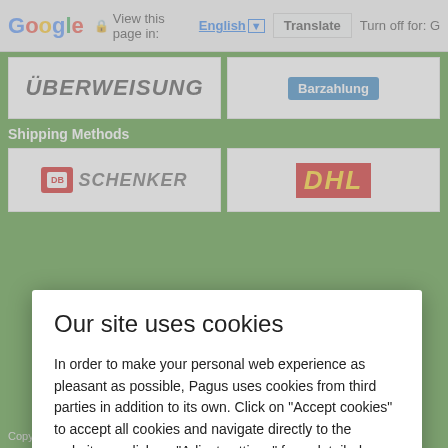Google  View this page in: English [▼]  Translate  Turn off for: G
[Figure (screenshot): Website background showing ÜBERWEISUNG and Barzahlung payment method logos on green background, and DB Schenker and DHL shipping method logos]
Shipping Methods
Our site uses cookies
In order to make your personal web experience as pleasant as possible, Pagus uses cookies from third parties in addition to its own. Click on "Accept cookies" to accept all cookies and navigate directly to the website, or click on "Adjust settings" for a detailed description and individual selection of cookies.
Impressum | Datenschutz
accept cookies
Adjust settings
Copyright © 2017 | All rights reserved